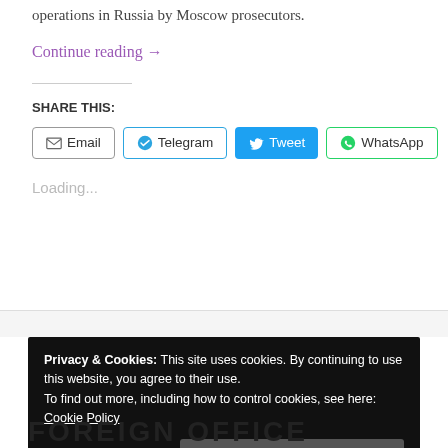operations in Russia by Moscow prosecutors.
Continue reading →
SHARE THIS:
Email  Telegram  Tweet  WhatsApp
Loading...
Privacy & Cookies: This site uses cookies. By continuing to use this website, you agree to their use.
To find out more, including how to control cookies, see here: Cookie Policy
Close and accept
FOREIGN OFFICE